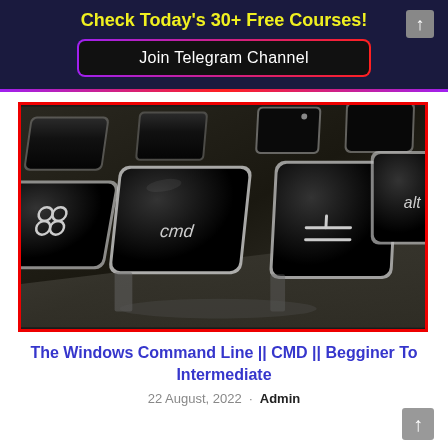Check Today's 30+ Free Courses!
Join Telegram Channel
[Figure (photo): Close-up photo of black Mac keyboard keys showing the command (cmd), alt, and option keys with silver edges against a dark gray background.]
The Windows Command Line || CMD || Begginer To Intermediate
22 August, 2022 · Admin